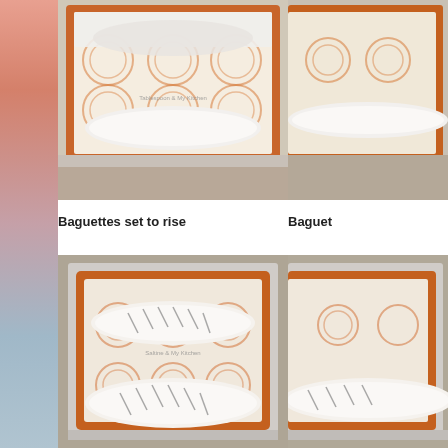[Figure (photo): Baguette dough shaped into logs resting on a silicone baking mat on a metal baking sheet, top-down view, white cloth visible at top]
[Figure (photo): Partially visible photo of baguette dough on a baking tray, right-side crop]
Baguettes set to rise
Baguet
[Figure (photo): Two scored baguette dough loaves on silicone baking mat on metal baking sheet, placed on granite countertop, ready to bake]
[Figure (photo): Partially visible photo of scored baguette on baking tray, right-side crop]